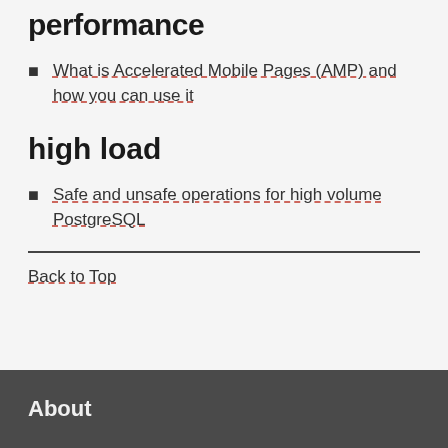performance
What is Accelerated Mobile Pages (AMP) and how you can use it
high load
Safe and unsafe operations for high volume PostgreSQL
Back to Top
About